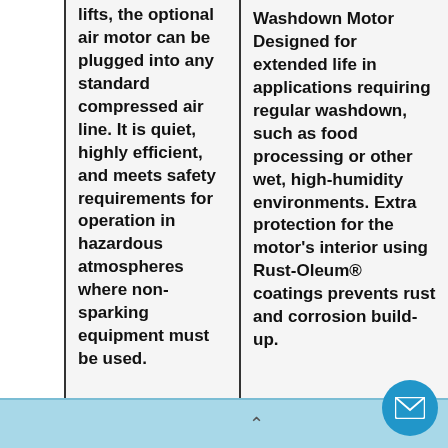lifts, the optional air motor can be plugged into any standard compressed air line.  It is quiet, highly efficient, and meets safety requirements for operation in hazardous atmospheres where non-sparking equipment must be used.
Washdown Motor Designed for extended life in applications requiring regular washdown, such as food processing or other wet, high-humidity environments.  Extra protection for the motor's interior using Rust-Oleum® coatings prevents rust and corrosion build-up.